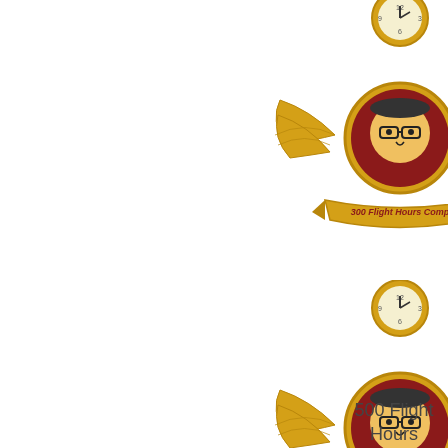300 Flight Hours
[Figure (illustration): Virgin Airlines 300 Flight Hours Completed badge — golden wings with a circular medallion featuring a caricature face and a banner reading '300 Flight Hours Comp', with a clock above]
500 Flight Hours
[Figure (illustration): Virgin Airlines 500 Flight Hours Completed badge — golden wings with a circular medallion featuring a caricature face and a banner reading '500 Flight Hours Comp', with a clock above]
750 Flight Hours
[Figure (illustration): Virgin Airlines 750 Flight Hours Completed badge — golden wings with a circular medallion featuring a caricature face and a banner reading '750 Flight Hours Comp', with a clock above]